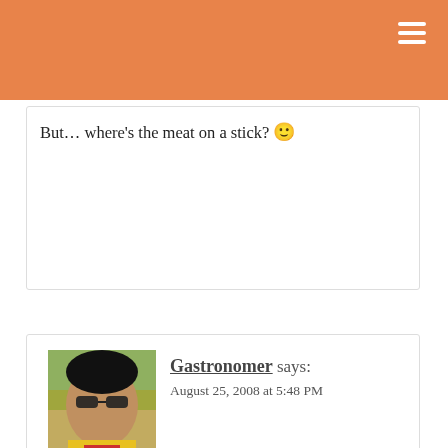But… where’s the meat on a stick? 🙂
[Figure (photo): Avatar photo of Gastronomer commenter, showing a person with sunglasses wearing yellow and red clothing]
Gastronomer says:
August 25, 2008 at 5:48 PM
Pammeh – Man tou IS fabulous – we had some
[Figure (infographic): Kitchen utensils illustrated in a row — whisk, spatulas, dish, pizza cutter, bowl, fork/spoon. Semi-transparent gray on white background. Also delicious on Gastronomy... text overlay.]
[Figure (logo): Gastronomy blog logo with cursive Gastronomy text and wavy lines]
Suon Nuong Recipe - Vietna...
gastronomyblog.com
+ AddThis